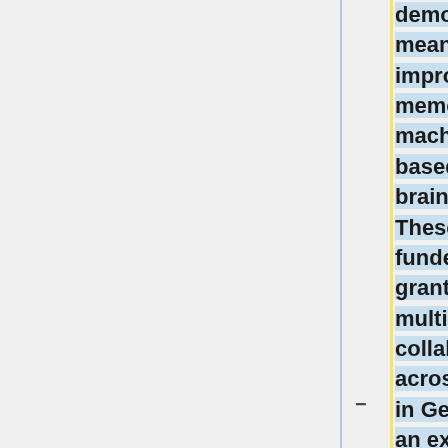demonstrated meaningful improvements in memory using machine-learning-based closed loop brain stimulation. These projects are funded by multiple grants and involve multi-site collaborations across the U.S. and in Germany. We seek an experienced candidate who can effectively direct large